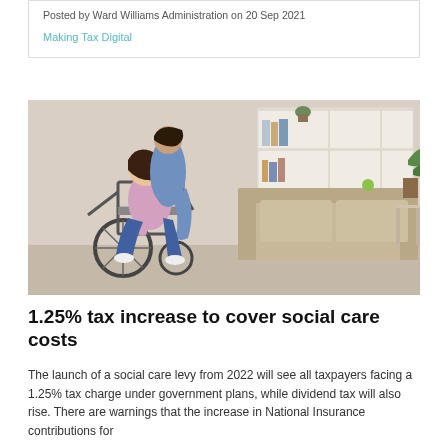Posted by Ward Williams Administration on 20 Sep 2021
Making Tax Digital
[Figure (photo): A caregiver helping a person in a wheelchair transfer to a sofa in a bright living room with white shelving unit in background]
1.25% tax increase to cover social care costs
The launch of a social care levy from 2022 will see all taxpayers facing a 1.25% tax charge under government plans, while dividend tax will also rise. There are warnings that the increase in National Insurance contributions for